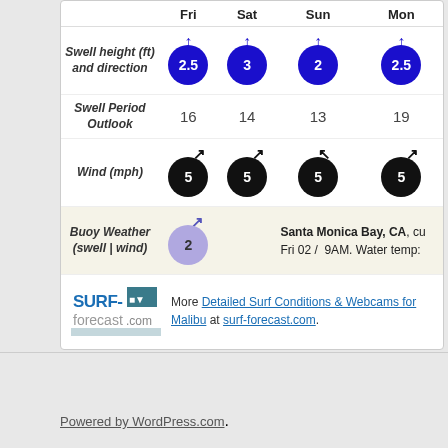|  | Fri | Sat | Sun | Mon |
| --- | --- | --- | --- | --- |
| Swell height (ft) and direction | 2.5 | 3 | 2 | 2.5 |
| Swell Period Outlook | 16 | 14 | 13 | 19 |
| Wind (mph) | 5 | 5 | 5 | 5 |
| Buoy Weather (swell | wind) | 2 |  | Santa Monica Bay, CA, cu... Fri 02 / 9AM. Water temp: |  |  |
[Figure (logo): Surf-forecast.com logo]
More Detailed Surf Conditions & Webcams for Malibu at surf-forecast.com.
Powered by WordPress.com.